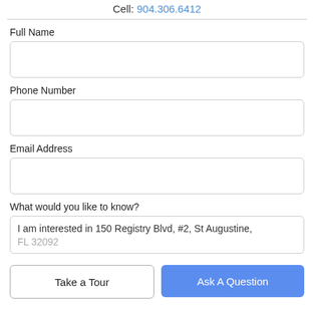Cell: 904.306.6412
Full Name
Phone Number
Email Address
What would you like to know?
I am interested in 150 Registry Blvd, #2, St Augustine, FL 32092
Take a Tour
Ask A Question